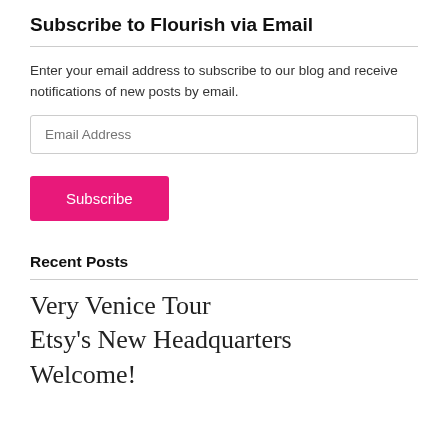Subscribe to Flourish via Email
Enter your email address to subscribe to our blog and receive notifications of new posts by email.
Recent Posts
Very Venice Tour
Etsy's New Headquarters
Welcome!